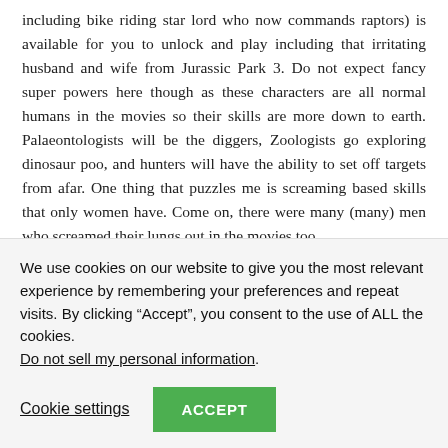including bike riding star lord who now commands raptors) is available for you to unlock and play including that irritating husband and wife from Jurassic Park 3. Do not expect fancy super powers here though as these characters are all normal humans in the movies so their skills are more down to earth. Palaeontologists will be the diggers, Zoologists go exploring dinosaur poo, and hunters will have the ability to set off targets from afar. One thing that puzzles me is screaming based skills that only women have. Come on, there were many (many) men who screamed their lungs out in the movies too.
Combat is what you will expect from the previous Lego adventures.
We use cookies on our website to give you the most relevant experience by remembering your preferences and repeat visits. By clicking “Accept”, you consent to the use of ALL the cookies. Do not sell my personal information.
Cookie settings
ACCEPT